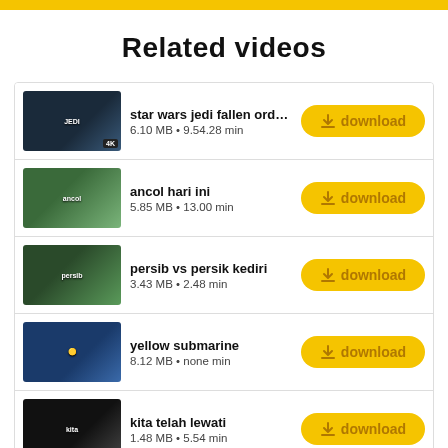Related videos
star wars jedi fallen order gameplay
6.10 MB • 9.54.28 min
ancol hari ini
5.85 MB • 13.00 min
persib vs persik kediri
3.43 MB • 2.48 min
yellow submarine
8.12 MB • none min
kita telah lewati
1.48 MB • 5.54 min
live korea open 2022
7.70 MB • 57.41 min
zigaz sahabat jadi cinta